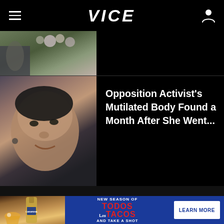VICE
[Figure (photo): Photo strip showing person with flowers at top]
[Figure (photo): Close-up photo of a woman's face looking upward]
Opposition Activist's Mutilated Body Found a Month After She Went...
[Figure (photo): Advertisement showing Camarena Tequila bottle with cocktail drink]
WATCH THE NEW SEASON OF TODOS Los TACOS AND TAKE A SHOT AT FREE TACOS
LEARN MORE